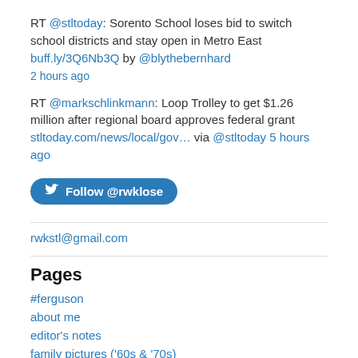RT @stltoday: Sorento School loses bid to switch school districts and stay open in Metro East buff.ly/3Q6Nb3Q by @blythebernhard 2 hours ago
RT @markschlinkmann: Loop Trolley to get $1.26 million after regional board approves federal grant stltoday.com/news/local/gov… via @stltoday 5 hours ago
[Figure (other): Follow @rwklose button (Twitter/X follow button)]
rwkstl@gmail.com
Pages
#ferguson
about me
editor's notes
family pictures ('60s & '70s)